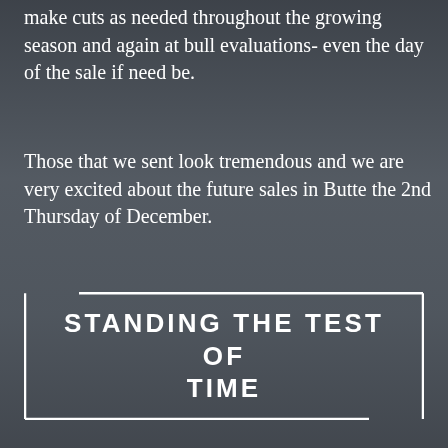make cuts as needed throughout the growing season and again at bull evaluations- even the day of the sale if need be.
Those that we sent look tremendous and we are very excited about the future sales in Butte the 2nd Thursday of December.
STANDING THE TEST OF TIME